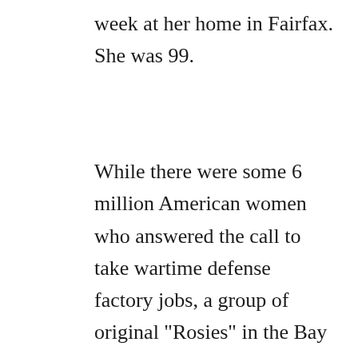week at her home in Fairfax. She was 99.
While there were some 6 million American women who answered the call to take wartime defense factory jobs, a group of original "Rosies" in the Bay Area, including the highly activist Ms. Gould, have lobbied hard in recent decades for historical recognition of their work beyond the iconic Rosie the Riveter poster. As the Associated Press reports, Gould was instrumental in helping establish the Rosie the Riveter/WWII Home Front National Historical Park in